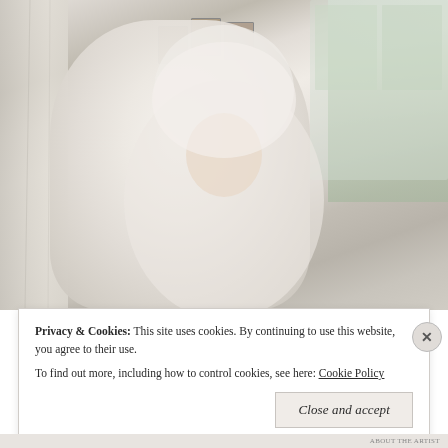[Figure (photo): A person wearing white fabric draped over their head and body like a veil or robe, standing near a window with curtains. Small portrait photos are visible on the wall behind them. Outside the window is a parking lot and trees.]
Privacy & Cookies: This site uses cookies. By continuing to use this website, you agree to their use.
To find out more, including how to control cookies, see here: Cookie Policy
Close and accept
ABOUT THE ARTIST